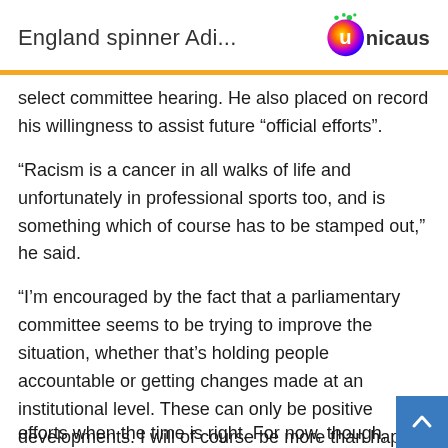England spinner Adi...
[Figure (logo): Unicaus logo with colorful circular icon and text]
select committee hearing. He also placed on record his willingness to assist future “official efforts”.
“Racism is a cancer in all walks of life and unfortunately in professional sports too, and is something which of course has to be stamped out,” he said.
“I’m encouraged by the fact that a parliamentary committee seems to be trying to improve the situation, whether that’s holding people accountable or getting changes made at an institutional level. These can only be positive developments. I will of course be more than happy to support any official efforts when the time is right. For now, though, these